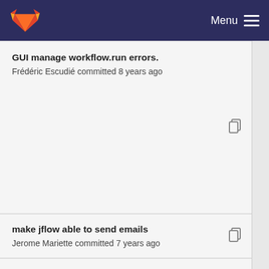GitLab — Menu
GUI manage workflow.run errors.
Frédéric Escudié committed 8 years ago
make jflow able to send emails
Jerome Mariette committed 7 years ago
GUI manage workflow.run errors.
Frédéric Escudié committed 8 years ago
handle reseted component from the status